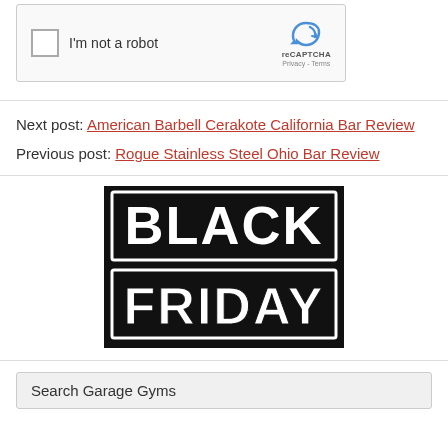[Figure (screenshot): reCAPTCHA widget with checkbox labeled I'm not a robot, reCAPTCHA logo, Privacy and Terms links]
Next post: American Barbell Cerakote California Bar Review
Previous post: Rogue Stainless Steel Ohio Bar Review
[Figure (illustration): Black and white graphic with distressed stamp-style text reading BLACK FRIDAY on black background]
Search Garage Gyms